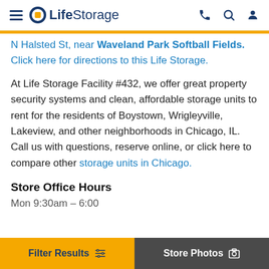Life Storage
N Halsted St, near Waveland Park Softball Fields. Click here for directions to this Life Storage.
At Life Storage Facility #432, we offer great property security systems and clean, affordable storage units to rent for the residents of Boystown, Wrigleyville, Lakeview, and other neighborhoods in Chicago, IL. Call us with questions, reserve online, or click here to compare other storage units in Chicago.
Store Office Hours
Mon 9:30am – 6:00...
Filter Results  Store Photos